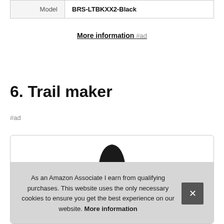| Model | BRS-LTBKXX2-Black |
| --- | --- |
| Model | BRS-LTBKXX2-Black |
More information #ad
6. Trail maker
#ad
[Figure (photo): Product image of a Trail maker item, partially visible at top of card]
As an Amazon Associate I earn from qualifying purchases. This website uses the only necessary cookies to ensure you get the best experience on our website. More information